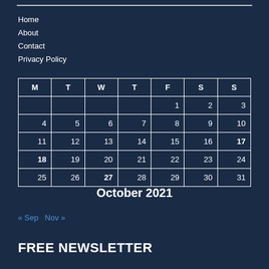Home
About
Contact
Privacy Policy
| M | T | W | T | F | S | S |
| --- | --- | --- | --- | --- | --- | --- |
|  |  |  |  | 1 | 2 | 3 |
| 4 | 5 | 6 | 7 | 8 | 9 | 10 |
| 11 | 12 | 13 | 14 | 15 | 16 | 17 |
| 18 | 19 | 20 | 21 | 22 | 23 | 24 |
| 25 | 26 | 27 | 28 | 29 | 30 | 31 |
October 2021
« Sep   Nov »
FREE NEWSLETTER